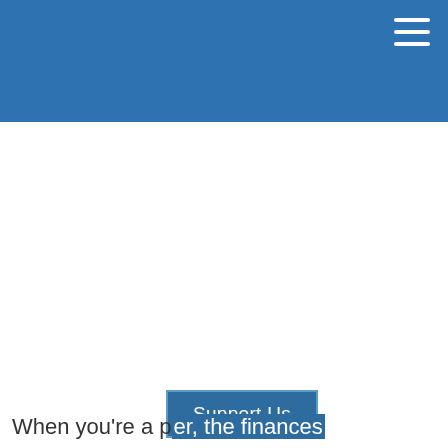[Figure (other): Blue header banner with hamburger menu icon (three horizontal white lines) in the top-right corner]
[Figure (other): Support Us button — blue rectangular button with white text reading 'Support Us']
When you're a p[...], the finances